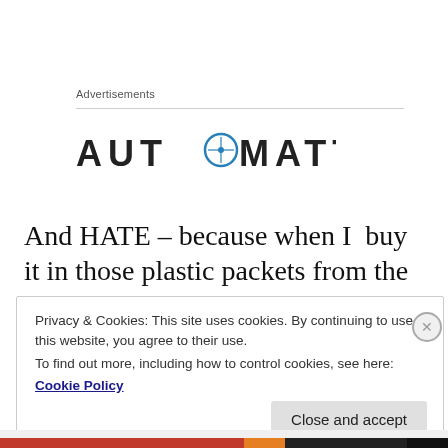Advertisements
[Figure (logo): Automattic logo — wordmark in dark gray uppercase letters with a compass/target icon replacing the letter O in AUTOMATTIC]
And HATE – because when I  buy it in those plastic packets from the store, I use a little for a single meal and the remainder plummets toward an all-too-rapid demise in my fridge.
Privacy & Cookies: This site uses cookies. By continuing to use this website, you agree to their use.
To find out more, including how to control cookies, see here:
Cookie Policy
Close and accept